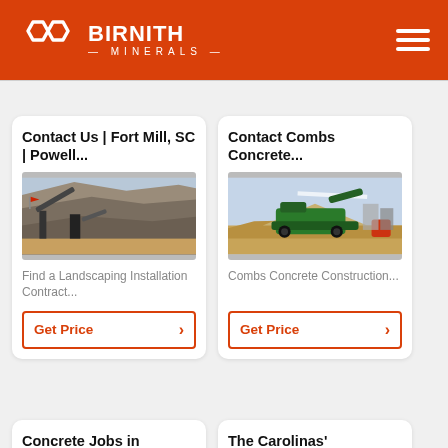[Figure (logo): Birnith Minerals logo with orange background, white interlocking hexagon icon and white text]
Contact Us | Fort Mill, SC | Powell...
[Figure (photo): Mining quarry with crushing equipment and conveyor belts]
Find a Landscaping Installation Contract...
Get Price
Contact Combs Concrete...
[Figure (photo): Green excavator/crusher machine at a construction aggregate site]
Combs Concrete Construction...
Get Price
Concrete Jobs in
The Carolinas'